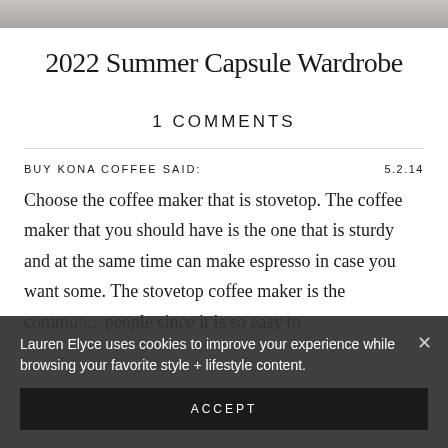[Figure (photo): Partial photo strip at top of page showing a person, cropped]
2022 Summer Capsule Wardrobe
1 COMMENTS
BUY KONA COFFEE SAID:
5.2.14
Choose the coffee maker that is stovetop. The coffee maker that you should have is the one that is sturdy and at the same time can make espresso in case you want some. The stovetop coffee maker is the commo... people since it is so easy to...
Lauren Elyce uses cookies to improve your experience while browsing your favorite style + lifestyle content.
ACCEPT